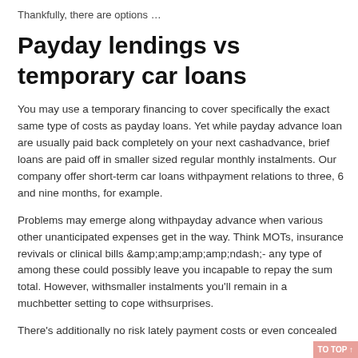Thankfully, there are options …
Payday lendings vs temporary car loans
You may use a temporary financing to cover specifically the exact same type of costs as payday loans. Yet while payday advance loan are usually paid back completely on your next cashadvance, brief loans are paid off in smaller sized regular monthly instalments. Our company offer short-term car loans withpayment relations to three, 6 and nine months, for example.
Problems may emerge along withpayday advance when various other unanticipated expenses get in the way. Think MOTs, insurance revivals or clinical bills &amp;amp;amp;amp;amp;ndash;- any type of among these could possibly leave you incapable to repay the sum total. However, withsmaller instalments you'll remain in a muchbetter setting to cope withsurprises.
There's additionally no risk lately payment costs or even concealed